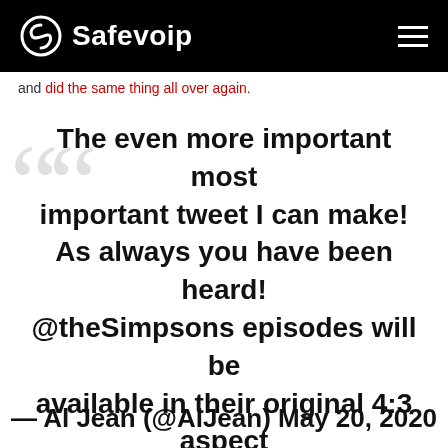Safevoip
and did the same thing all over again.
The even more important most important tweet I can make! As always you have been heard! @theSimpsons episodes will be available in their original 4:3 aspect ratio on #DisneyPlus beginning 5/28. — Al Jean (@AlJean) May 20, 2020